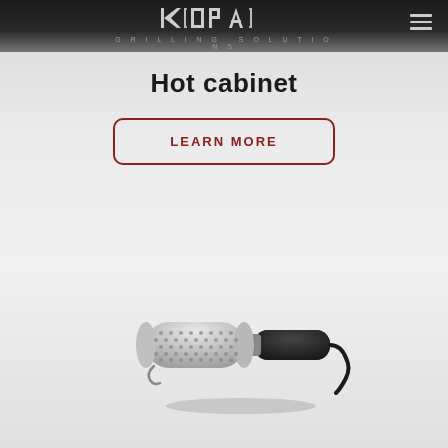KOPA GRILLING SOLUTIONS
Hot cabinet
LEARN MORE
[Figure (photo): A cylindrical metallic grilling tool or hot cabinet heating element with perforated silver barrel and black handle with cord, shown at an angle with a subtle shadow beneath it]